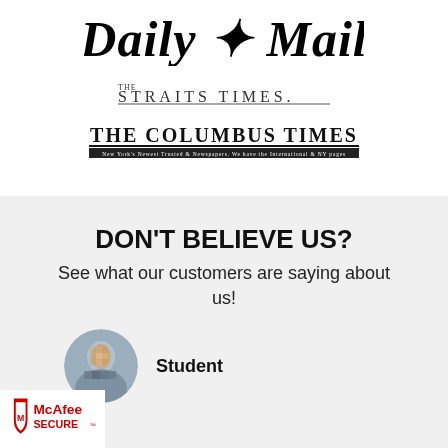[Figure (logo): Daily Mail newspaper logo in bold blackletter/italic serif font with decorative emblem]
[Figure (logo): The Straits Times newspaper logo in uppercase serif with underline]
[Figure (logo): The Columbus Times newspaper logo in bold uppercase serif with subtitle bar]
DON'T BELIEVE US?
See what our customers are saying about us!
[Figure (photo): Circular avatar photo of a person (pixelated/blurred face)]
Student
[Figure (logo): McAfee SECURE badge/logo]